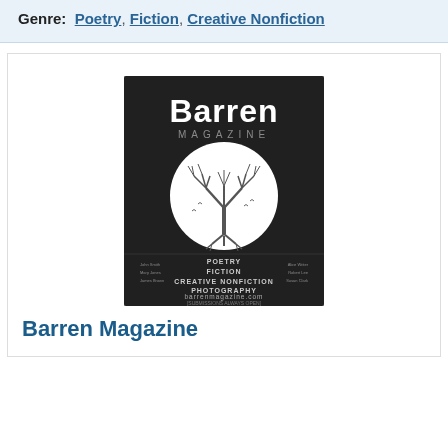Genre: Poetry, Fiction, Creative Nonfiction
[Figure (illustration): Cover of Barren Magazine showing a dark background with the title 'Barren' in large white text, 'MAGAZINE' below in gray capitals, a circular emblem with a bare tree, and text listing POETRY, FICTION, CREATIVE NONFICTION, PHOTOGRAPHY, barrenmagazine.com, [SUBMISSIONS ALWAYS OPEN]]
Barren Magazine